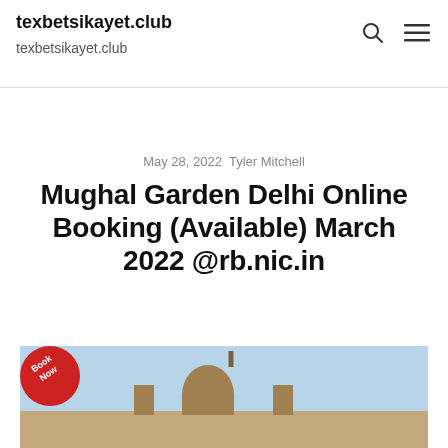texbetsikayet.club
texbetsikayet.club
May 28, 2022   Tyler Mitchell
Mughal Garden Delhi Online Booking (Available) March 2022 @rb.nic.in
[Figure (photo): Photo of Mughal Garden Delhi with a red 'Book Now' badge in the bottom-left corner. Shows a dome-shaped historical building against a blue sky.]